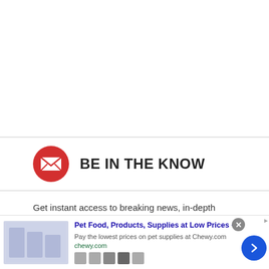[Figure (other): White blank space at top of page]
BE IN THE KNOW
Get instant access to breaking news, in-depth reviews and helpful tips.
[Figure (infographic): Advertisement banner for Chewy.com: Pet Food, Products, Supplies at Low Prices - Pay the lowest prices on pet supplies at Chewy.com. chewy.com]